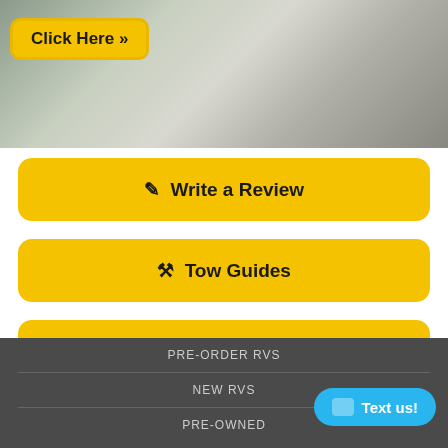[Figure (photo): Interior photo of an RV kitchen with gray cabinetry, stainless appliances, and a 'Click Here »' yellow button overlay]
✎ Write a Review
⚙ Tow Guides
Click Here To Take Survey
PRE-ORDER RVS
NEW RVS
PRE-OWNED